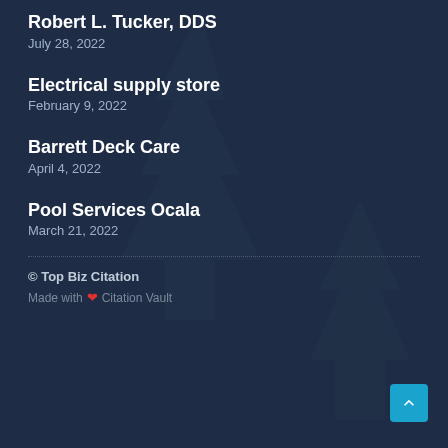Robert L. Tucker, DDS
July 28, 2022
Electrical supply store
February 9, 2022
Barrett Deck Care
April 4, 2022
Pool Services Ocala
March 21, 2022
© Top Biz Citation
Made with ❤ Citation Vault